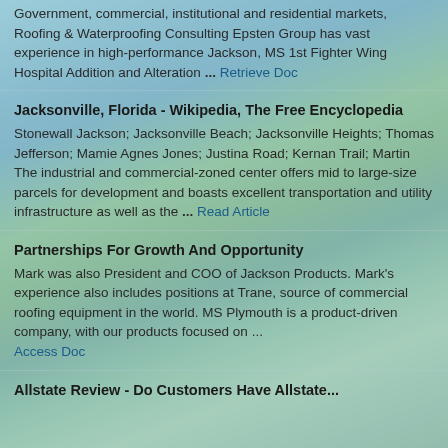Government, commercial, institutional and residential markets, Roofing & Waterproofing Consulting Epsten Group has vast experience in high-performance Jackson, MS 1st Fighter Wing Hospital Addition and Alteration ... Retrieve Doc
Jacksonville, Florida - Wikipedia, The Free Encyclopedia
Stonewall Jackson; Jacksonville Beach; Jacksonville Heights; Thomas Jefferson; Mamie Agnes Jones; Justina Road; Kernan Trail; Martin The industrial and commercial-zoned center offers mid to large-size parcels for development and boasts excellent transportation and utility infrastructure as well as the ... Read Article
Partnerships For Growth And Opportunity
Mark was also President and COO of Jackson Products. Mark's experience also includes positions at Trane, source of commercial roofing equipment in the world. MS Plymouth is a product-driven company, with our products focused on ... Access Doc
Allstate Review - Do Customers Have Allstate...